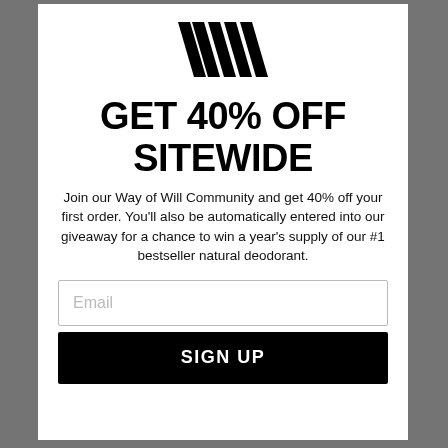[Figure (logo): Way of Will logo — stylized W made of angled lines]
GET 40% OFF SITEWIDE
Join our Way of Will Community and get 40% off your first order. You'll also be automatically entered into our giveaway for a chance to win a year's supply of our #1 bestseller natural deodorant.
Email (input field placeholder)
SIGN UP